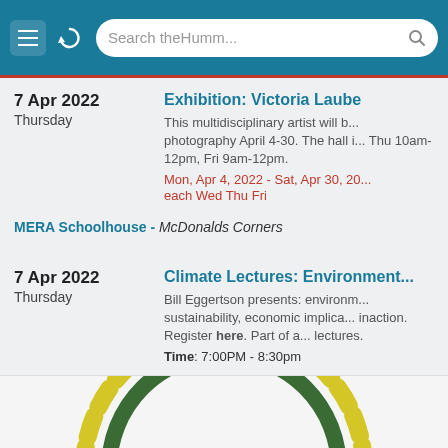[Figure (screenshot): Mobile browser header bar with teal background, hamburger menu icon, refresh icon, and search bar reading 'Search theHumm...' with search icon]
7 Apr 2022 Thursday — Exhibition: Victoria Laube
This multidisciplinary artist will b... photography April 4-30. The hall i... Thu 10am-12pm, Fri 9am-12pm.
Mon, Apr 4, 2022 - Sat, Apr 30, 20...
each Wed Thu Fri
MERA Schoolhouse - McDonalds Corners
7 Apr 2022 Thursday — Climate Lectures: Environment...
Bill Eggertson presents: environm... sustainability, economic implica... inaction. Register here. Part of a... lectures.
Time: 7:00PM - 8:30pm
Mississippi Mills Public Library - Almonte Branch - Almonte
[Figure (other): Partial view of a donut/arc chart with yellow and dark green concentric arcs, cropped at the bottom of the page]